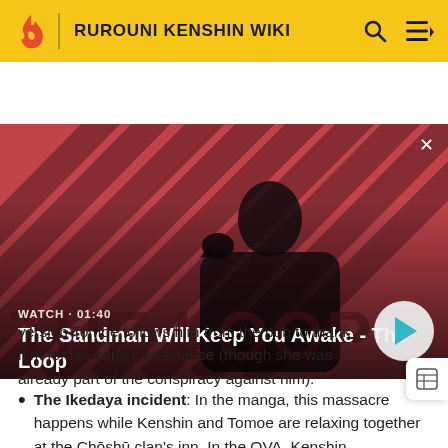RUROUNI KENSHIN WIKI
[Figure (screenshot): Video thumbnail showing a dark-cloaked figure with a raven on their shoulder against a red and dark diagonal striped background. Overlaid text reads: WATCH · 01:40 / The Sandman Will Keep You Awake - The Loop. A teal play button is visible on the right.]
version Tomoe follows him from the pub to thank him for his earlier assistance (though she was already part of the conspiracy against him).
The Ikedaya incident: In the manga, this massacre happens while Kenshin and Tomoe are relaxing together at the Chōshū clan's inn. In the OVA, Kenshin